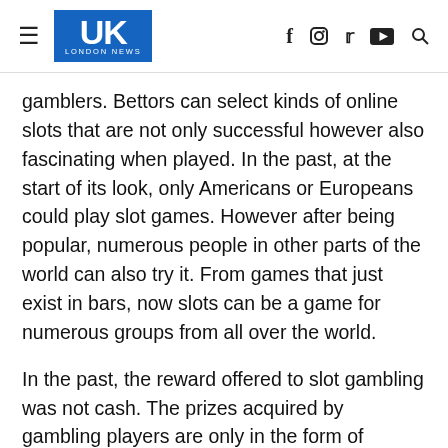UK LONDON NEWS
gamblers. Bettors can select kinds of online slots that are not only successful however also fascinating when played. In the past, at the start of its look, only Americans or Europeans could play slot games. However after being popular, numerous people in other parts of the world can also try it. From games that just exist in bars, now slots can be a game for numerous groups from all over the world.
In the past, the reward offered to slot gambling was not cash. The prizes acquired by gambling players are only in the form of beverages or perhaps sweets. That is why in some places, slot gambling is often described as a slot machine. Gradually, poker machines then got some technological additions. star8et If in the past whatever was done manually, a few years after its appearance, an automatic variation of the maker started to appear. The base video game does not utilize poker games any longer. Replaced with card signs, numbers, and even fruit.